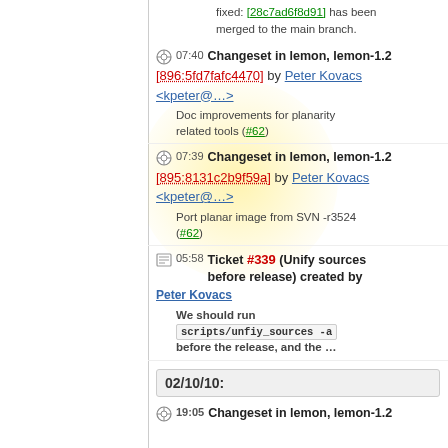fixed: [28c7ad6f8d91] has been merged to the main branch.
07:40 Changeset in lemon, lemon-1.2 [896:5fd7fafc4470] by Peter Kovacs <kpeter@...>
Doc improvements for planarity related tools (#62)
07:39 Changeset in lemon, lemon-1.2 [895:8131c2b9f59a] by Peter Kovacs <kpeter@...>
Port planar image from SVN -r3524 (#62)
05:58 Ticket #339 (Unify sources before release) created by Peter Kovacs
We should run scripts/unfiy_sources -a before the release, and the ...
02/10/10:
19:05 Changeset in lemon, lemon-1.2